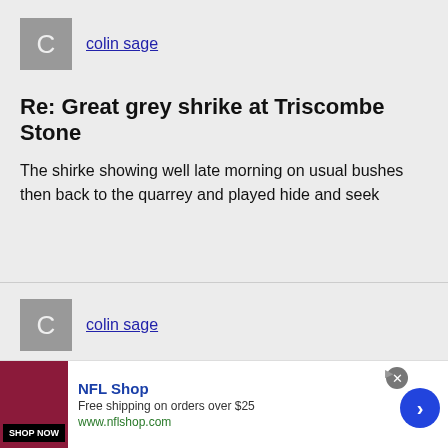[Figure (illustration): Grey square avatar with letter C]
colin sage
Re: Great grey shrike at Triscombe Stone
The shirke showing well late morning on usual bushes then back to the quarrey and played hide and seek
[Figure (illustration): Grey square avatar with letter C]
colin sage
Re: Great grey shrike at Triscombe Stone
[Figure (illustration): NFL Shop advertisement banner with dark red image, shop now button, NFL Shop title, free shipping offer, and navigation arrow]